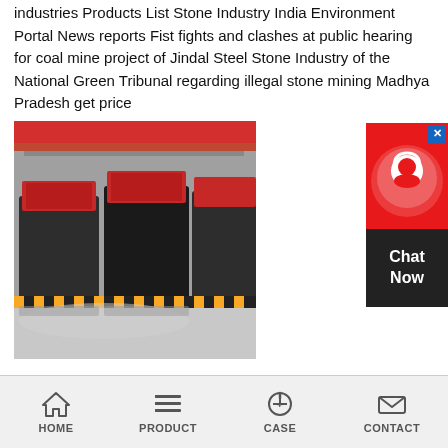industries Products List Stone Industry India Environment Portal News reports Fist fights and clashes at public hearing for coal mine project of Jindal Steel Stone Industry of the National Green Tribunal regarding illegal stone mining Madhya Pradesh get price
[Figure (photo): Industrial crusher/grinding mill machinery in a factory setting with red and black components, overhead cranes visible]
[Figure (infographic): Red and black chat widget with headset icon and 'Chat Now' label with close button]
Cement Plant In Madhya Pradesh Crusher, Grinding Mills
Cement Plant In Madhya Pradesh. list of cement plant in satna ptfewire. Madhya Pradesh to get 21 new cement plants. Nov 24, 2010 The Jayprakash Associates will invest Rs one thousand crore to set get price
[Figure (photo): Mountain landscape photo, partially visible at bottom]
HOME   PRODUCT   CASE   CONTACT